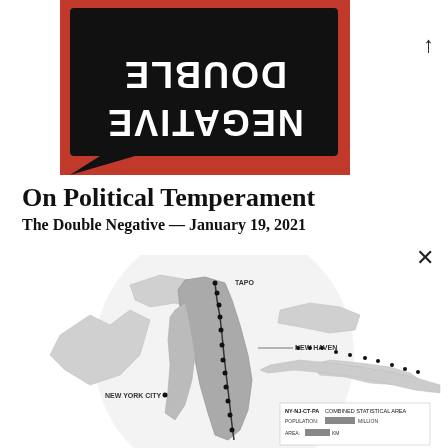[Figure (logo): Double Negative logo: red background with black speech bubble containing white mirrored/upside-down text reading DOUBLE NEGATIVE]
On Political Temperament
The Double Negative — January 19, 2021
[Figure (map): Grayscale map showing the NY-NJ-CT-PA Combined Statistical Area with city labels including TAPO, NEW HAVEN, and NEW YORK CITY. A route with dots is traced along the corridor. Legend shows NY-NJ-CT-PA COMBINED STATISTICAL AREA with population and area statistics.]